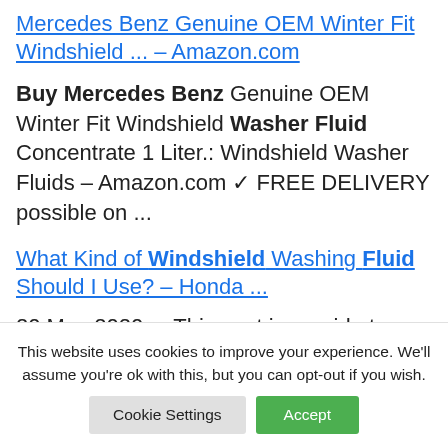Mercedes Benz Genuine OEM Winter Fit Windshield ... – Amazon.com
Buy Mercedes Benz Genuine OEM Winter Fit Windshield Washer Fluid Concentrate 1 Liter.: Windshield Washer Fluids – Amazon.com ✓ FREE DELIVERY possible on ...
What Kind of Windshield Washing Fluid Should I Use? – Honda ...
20 May 2020 ... This post is a guide to
This website uses cookies to improve your experience. We'll assume you're ok with this, but you can opt-out if you wish.
Cookie Settings  Accept